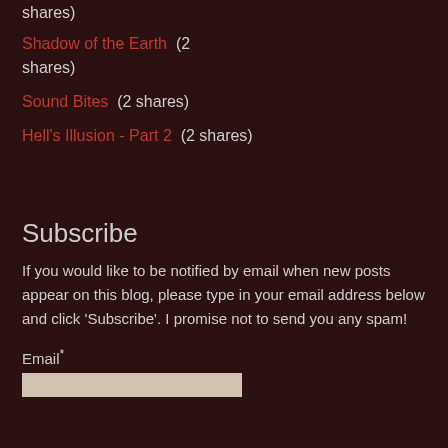shares)
Shadow of the Earth  (2 shares)
Sound Bites  (2 shares)
Hell's Illusion - Part 2  (2 shares)
Subscribe
If you would like to be notified by email when new posts appear on this blog, please type in your email address below and click 'Subscribe'. I promise not to send you any spam!
Email*